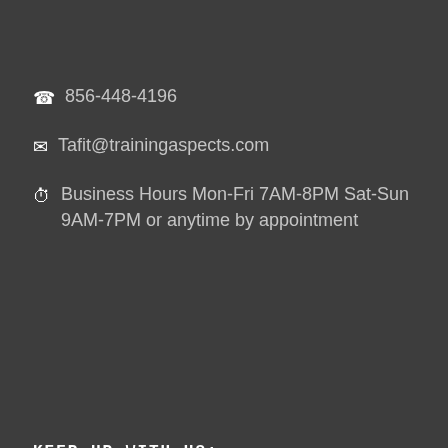☎ 856-448-4196
✉ Tafit@trainingaspects.com
⏱ Business Hours Mon-Fri 7AM-8PM Sat-Sun 9AM-7PM or anytime by appointment
KEEP UP WITH US:
LATEST ARTICLES